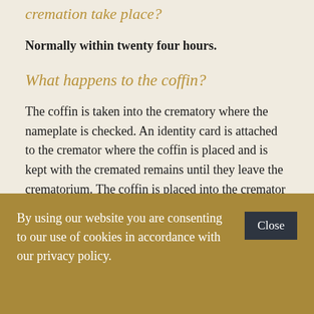cremation take place?
Normally within twenty four hours.
What happens to the coffin?
The coffin is taken into the crematory where the nameplate is checked. An identity card is attached to the cremator where the coffin is placed and is kept with the cremated remains until they leave the crematorium. The coffin is placed into the cremator and when finished, the cremated remains are taken from the cremator, cooled,
By using our website you are consenting to our use of cookies in accordance with our privacy policy.